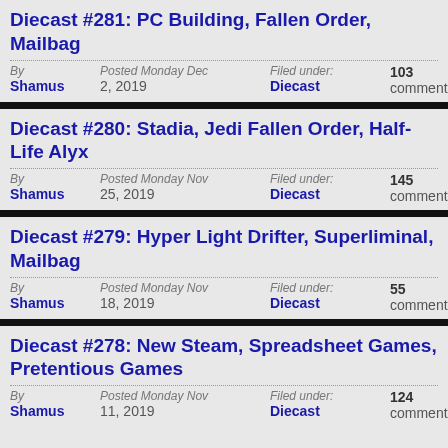Diecast #281: PC Building, Fallen Order, Mailbag
By Shamus | Posted Monday Dec 2, 2019 | Filed under: Diecast | 103 comments
Diecast #280: Stadia, Jedi Fallen Order, Half-Life Alyx
By Shamus | Posted Monday Nov 25, 2019 | Filed under: Diecast | 145 comments
Diecast #279: Hyper Light Drifter, Superliminal, Mailbag
By Shamus | Posted Monday Nov 18, 2019 | Filed under: Diecast | 55 comments
Diecast #278: New Steam, Spreadsheet Games, Pretentious Games
By Shamus | Posted Monday Nov 11, 2019 | Filed under: Diecast | 124 comments